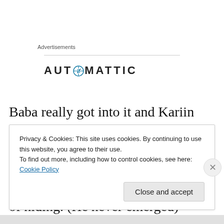Advertisements
[Figure (logo): Automattic logo with stylized compass/clock icon replacing the letter O in AUTOMATTIC]
Baba really got into it and Kariin only left the table a couple of times: to play with her brother and to see if the shop dog, Radish, a downy Airedale, was finally awake and out of hiding. (He never emerged)
Privacy & Cookies: This site uses cookies. By continuing to use this website, you agree to their use.
To find out more, including how to control cookies, see here: Cookie Policy